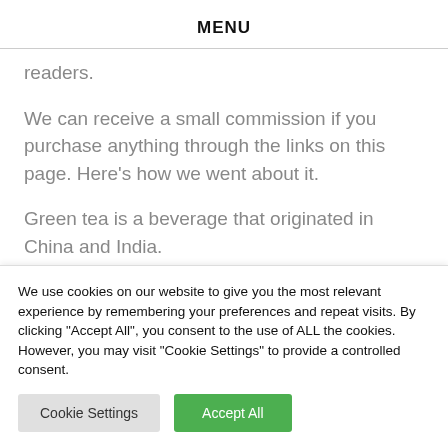MENU
readers.
We can receive a small commission if you purchase anything through the links on this page. Here's how we went about it.
Green tea is a beverage that originated in China and India.
We use cookies on our website to give you the most relevant experience by remembering your preferences and repeat visits. By clicking "Accept All", you consent to the use of ALL the cookies. However, you may visit "Cookie Settings" to provide a controlled consent.